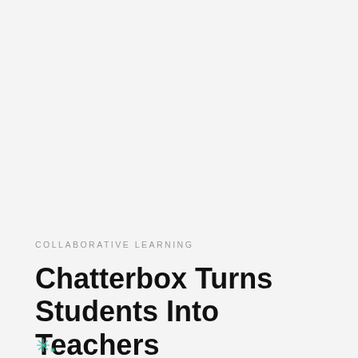COLLABORATIVE LEARNING
Chatterbox Turns Students Into Teachers